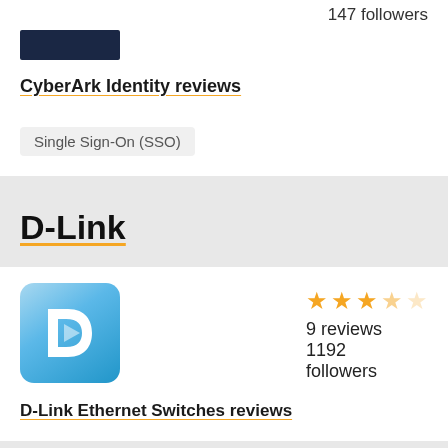147 followers
CyberArk Identity reviews
Single Sign-On (SSO)
D-Link
[Figure (logo): D-Link logo: blue rounded square with white D arrow symbol]
3.5 stars, 9 reviews, 1192 followers
D-Link Ethernet Switches reviews